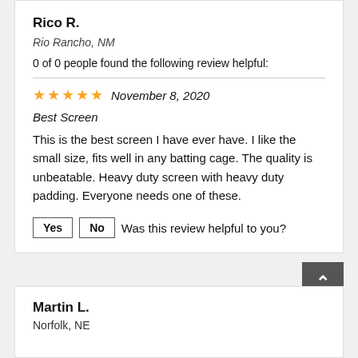Rico R.
Rio Rancho, NM
0 of 0 people found the following review helpful:
★★★★★ November 8, 2020
Best Screen
This is the best screen I have ever have. I like the small size, fits well in any batting cage. The quality is unbeatable. Heavy duty screen with heavy duty padding. Everyone needs one of these.
Yes | No  Was this review helpful to you?
Martin L.
Norfolk, NE